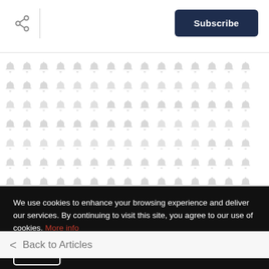Share | Subscribe
[Figure (illustration): Repeated grid of bell notification icons on white background]
< Back to Articles
We use cookies to enhance your browsing experience and deliver our services. By continuing to visit this site, you agree to our use of cookies. More info
OK